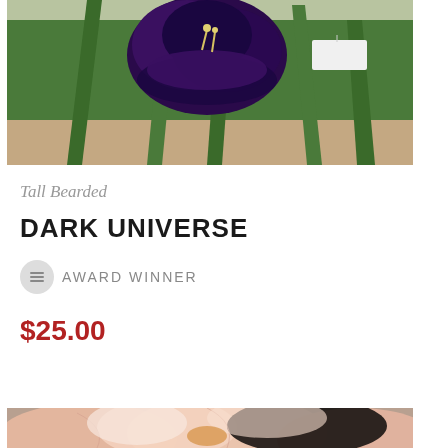[Figure (photo): Close-up photo of a dark purple/black tall bearded iris flower with green leaves against a garden background]
Tall Bearded
DARK UNIVERSE
AWARD WINNER
$25.00
Read more
[Figure (photo): Close-up photo of peach/pink tall bearded iris flowers]